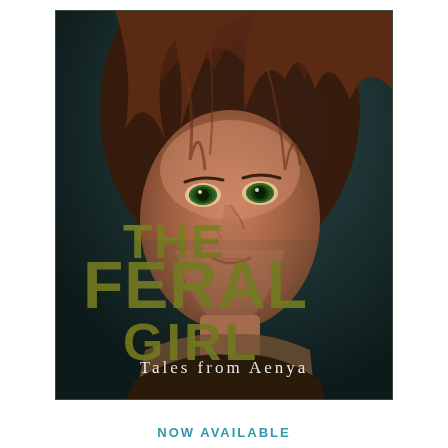[Figure (illustration): Book cover for 'The Feral Girl: Tales from Aenya'. Features a close-up digital illustration of a young woman with green eyes, tousled auburn hair, and scratches/dirt on her face, set against a dark teal background. Large distressed olive-green text reads 'THE FERAL GIRL' on the left and lower portion, with elegant subtitle 'Tales from Aenya' in white serif below.]
NOW AVAILABLE